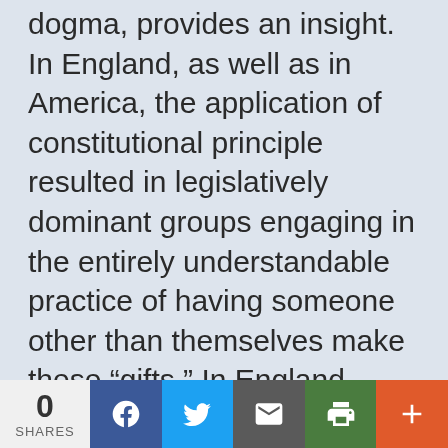dogma, provides an insight. In England, as well as in America, the application of constitutional principle resulted in legislatively dominant groups engaging in the entirely understandable practice of having someone other than themselves make these “gifts.” In England, when the House of Commons was controlled by the landed gentry, taxes tended to fall on activities of commerce. When upper and upper-middle class commercial interests came to predominate, they sought to impose consumption taxes (excises) on a broad variety of items used by the
0 SHARES | Facebook | Twitter | Email | Print | More